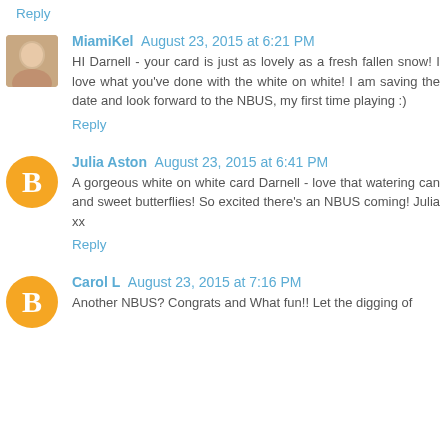Reply
MiamiKel  August 23, 2015 at 6:21 PM
HI Darnell - your card is just as lovely as a fresh fallen snow! I love what you've done with the white on white! I am saving the date and look forward to the NBUS, my first time playing :)
Reply
Julia Aston  August 23, 2015 at 6:41 PM
A gorgeous white on white card Darnell - love that watering can and sweet butterflies! So excited there's an NBUS coming! Julia xx
Reply
Carol L  August 23, 2015 at 7:16 PM
Another NBUS? Congrats and What fun!! Let the digging of